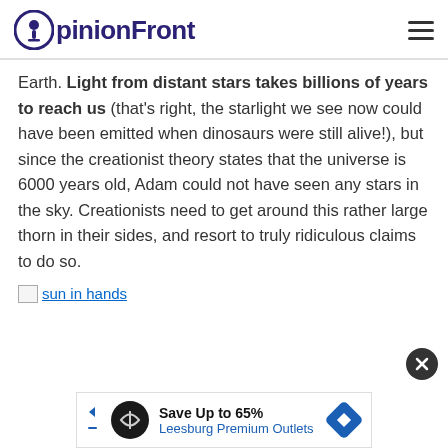OpinionFront
Earth. Light from distant stars takes billions of years to reach us (that’s right, the starlight we see now could have been emitted when dinosaurs were still alive!), but since the creationist theory states that the universe is 6000 years old, Adam could not have seen any stars in the sky. Creationists need to get around this rather large thorn in their sides, and resort to truly ridiculous claims to do so.
[Figure (photo): Broken image placeholder labeled 'sun in hands']